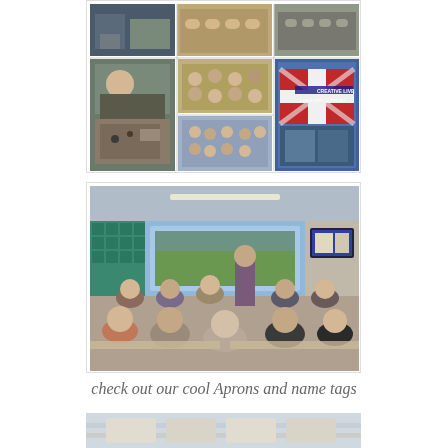[Figure (photo): Collage of multiple photos showing art/craft workshop sessions with groups of people seated at tables, working on projects in a classroom or studio environment. One photo shows a Creative Live Chemistry in Poetry book/material.]
[Figure (photo): Photograph of a classroom or workshop room viewed from the back, showing many participants seated at tables facing an instructor at the front, with a large window showing trees outside and a display screen on the right wall.]
check out our cool Aprons and name tags
[Figure (photo): Partial photograph showing what appears to be aprons or fabric items laid out on a surface.]